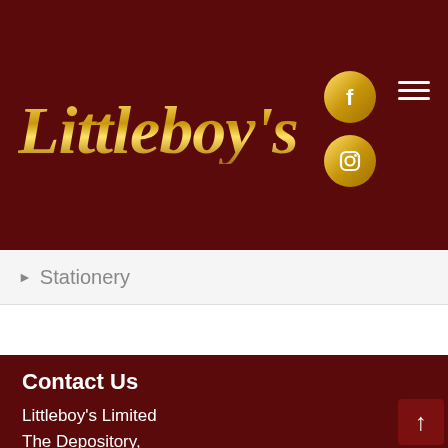Littleboy's
Stationery
Contact Us
Littleboy's Limited
The Depository,
Hoyle Mill Road,
Kinsley,